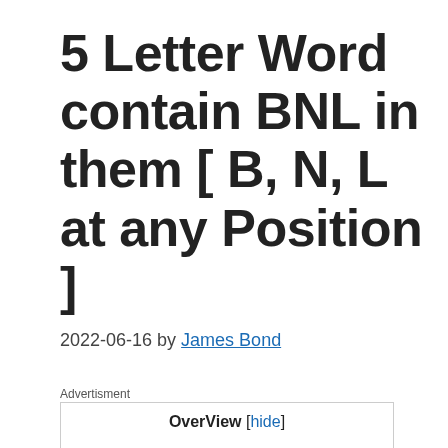5 Letter Word contain BNL in them [ B, N, L at any Position ]
2022-06-16 by James Bond
Advertisment
OverView [hide]
1 5-letter words with B N L in them ( Wordle Green, Yellow Box )
2 BNL at Any position: 5 Letter words